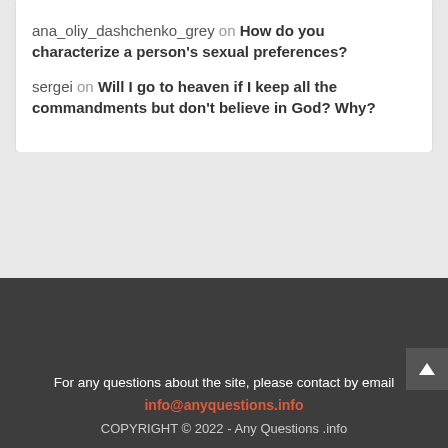ana_oliy_dashchenko_grey on How do you characterize a person's sexual preferences?
sergei on Will I go to heaven if I keep all the commandments but don't believe in God? Why?
For any questions about the site, please contact by email info@anyquestions.info COPYRIGHT © 2022 - Any Questions .info